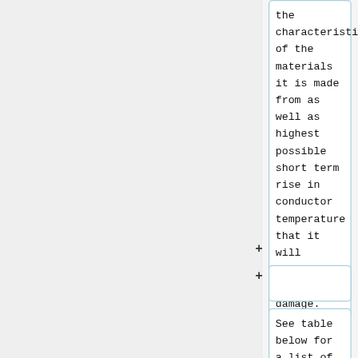the characteristics of the materials it is made from as well as highest possible short term rise in conductor temperature that it will tolerate without damage.
See table below for a list of